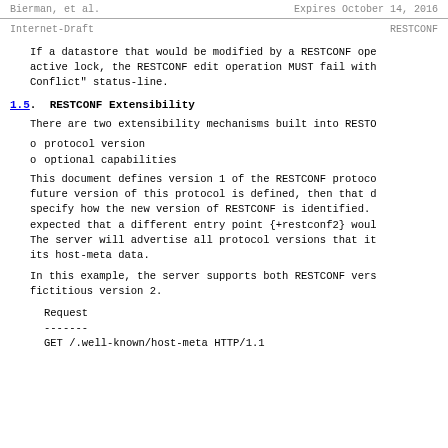Bierman, et al.    Expires October 14, 2016
Internet-Draft    RESTCONF
If a datastore that would be modified by a RESTCONF ope active lock, the RESTCONF edit operation MUST fail with Conflict" status-line.
1.5.  RESTCONF Extensibility
There are two extensibility mechanisms built into RESTO
protocol version
optional capabilities
This document defines version 1 of the RESTCONF protoco future version of this protocol is defined, then that d specify how the new version of RESTCONF is identified. expected that a different entry point {+restconf2} woul The server will advertise all protocol versions that it its host-meta data.
In this example, the server supports both RESTCONF vers fictitious version 2.
Request
-------
GET /.well-known/host-meta HTTP/1.1